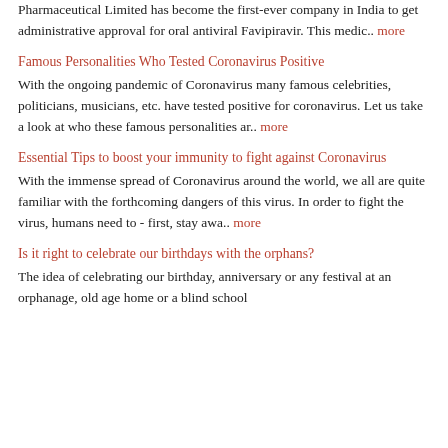Pharmaceutical Limited has become the first-ever company in India to get administrative approval for oral antiviral Favipiravir. This medic.. more
Famous Personalities Who Tested Coronavirus Positive
With the ongoing pandemic of Coronavirus many famous celebrities, politicians, musicians, etc. have tested positive for coronavirus. Let us take a look at who these famous personalities ar.. more
Essential Tips to boost your immunity to fight against Coronavirus
With the immense spread of Coronavirus around the world, we all are quite familiar with the forthcoming dangers of this virus. In order to fight the virus, humans need to - first, stay awa.. more
Is it right to celebrate our birthdays with the orphans?
The idea of celebrating our birthday, anniversary or any festival at an orphanage, old age home or a blind school